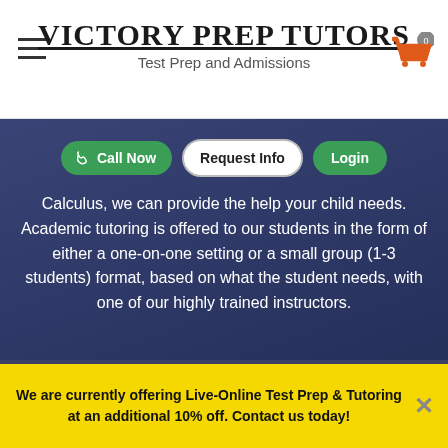VICTORY PREP TUTORS — Test Prep and Admissions
[Figure (screenshot): Navigation buttons: Call Now, Request Info, Login on dark overlay bar]
Calculus, we can provide the help your child needs. Academic tutoring is offered to our students in the form of either a one-on-one setting or a small group (1-3 students) format, based on what the student needs, with one of our highly trained instructors.
[Figure (illustration): Calculator icon (white line art)]
Math
[Figure (illustration): ABC document/pencil icon (white line art)]
We are currently offering Live-Online Test Prep & Tutoring at an additional 10% off. Contact us today!